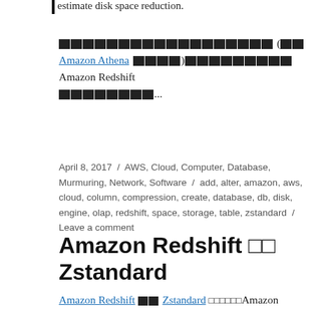estimate disk space reduction.
🔲🔲🔲🔲🔲🔲🔲🔲🔲🔲🔲🔲🔲🔲🔲🔲🔲🔲 (🔲🔲 Amazon Athena 🔲🔲🔲🔲)🔲🔲🔲🔲🔲🔲🔲🔲🔲 Amazon Redshift 🔲🔲🔲🔲🔲🔲🔲🔲...
April 8, 2017 / AWS, Cloud, Computer, Database, Murmuring, Network, Software / add, alter, amazon, aws, cloud, column, compression, create, database, db, disk, engine, olap, redshift, space, storage, table, zstandard / Leave a comment
Amazon Redshift □□ Zstandard
Amazon Redshift 🔲🔲 Zstandard □□□□□□Amazon Redshift□□□□□□□□ Zstandard□□□□□□□...